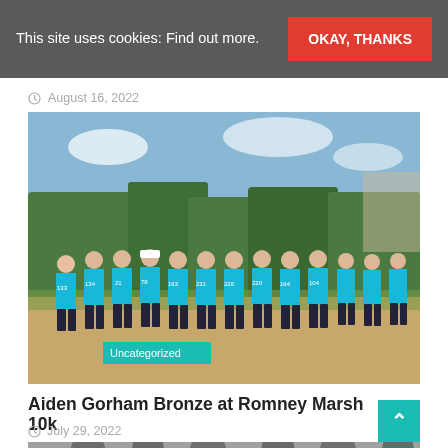This site uses cookies: Find out more.
OKAY, THANKS
August 16, 2022
[Figure (photo): Group photo of runners in blue vests with race numbers standing outdoors on sandy ground with trees in background. Race numbers visible include 133, 134, 21, 78, 163, 231, 226, 220, 164, 104. Badge overlay reads 'Uncategorized'.]
Aiden Gorham Bronze at Romney Marsh 10k
July 29, 2022
[Figure (photo): Partial view of misty trees, dark silhouettes against a grey sky — teaser image for next article.]